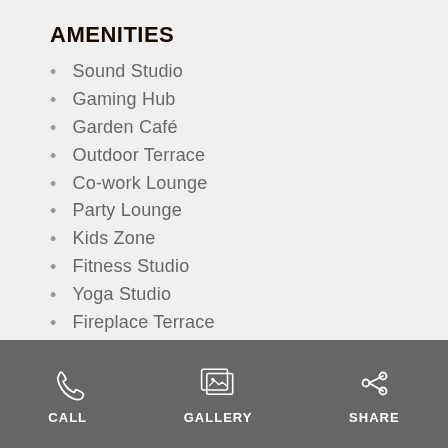AMENITIES
Sound Studio
Gaming Hub
Garden Café
Outdoor Terrace
Co-work Lounge
Party Lounge
Kids Zone
Fitness Studio
Yoga Studio
Fireplace Terrace
GET EAR
FIRST MOVE
CALL  GALLERY  SHARE